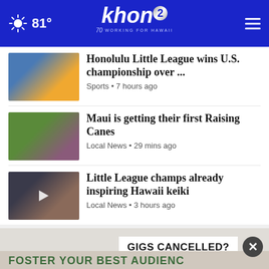khon2 WORKING FOR HAWAII | 81°
Honolulu Little League wins U.S. championship over ...
Sports • 7 hours ago
Maui is getting their first Raising Canes
Local News • 29 mins ago
Little League champs already inspiring Hawaii keiki
Local News • 3 hours ago
[Figure (advertisement): GIGS CANCELLED? FOSTER YOUR BEST AUDIENCE advertisement with close button]
[Figure (advertisement): Get SAVEDBYTHESCAN.ORG - American Lung Association ad council advertisement banner]